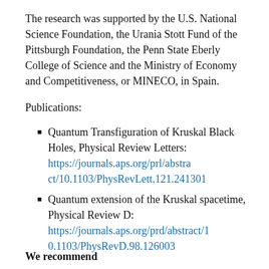The research was supported by the U.S. National Science Foundation, the Urania Stott Fund of the Pittsburgh Foundation, the Penn State Eberly College of Science and the Ministry of Economy and Competitiveness, or MINECO, in Spain.
Publications:
Quantum Transfiguration of Kruskal Black Holes, Physical Review Letters: https://journals.aps.org/prl/abstract/10.1103/PhysRevLett.121.241301
Quantum extension of the Kruskal spacetime, Physical Review D: https://journals.aps.org/prd/abstract/10.1103/PhysRevD.98.126003
We recommend